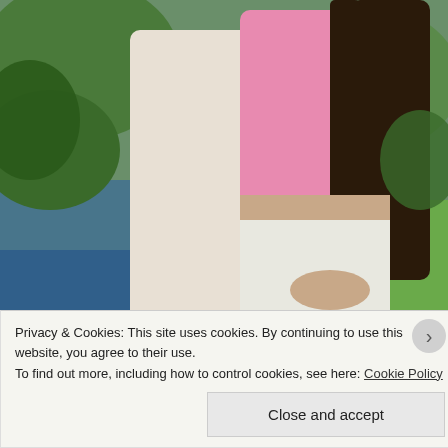[Figure (photo): Two people embracing outdoors near water and greenery. One person wearing a white shirt and blue jeans, the other wearing a pink top and white pants. Text 'EFFROSYNI MOSCHOUDI' in bold yellow letters overlaid at the bottom of the image.]
Privacy & Cookies: This site uses cookies. By continuing to use this website, you agree to their use.
To find out more, including how to control cookies, see here: Cookie Policy
Close and accept